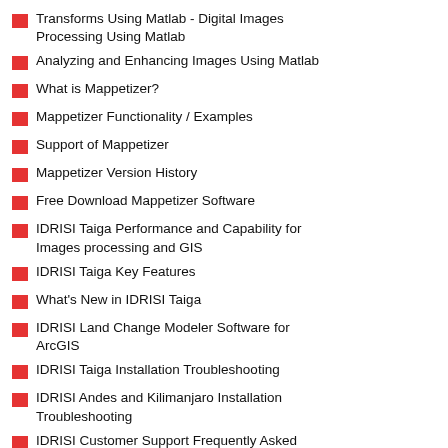Using Matlab
Transforms Using Matlab - Digital Images Processing Using Matlab
Analyzing and Enhancing Images Using Matlab
What is Mappetizer?
Mappetizer Functionality / Examples
Support of Mappetizer
Mappetizer Version History
Free Download Mappetizer Software
IDRISI Taiga Performance and Capability for Images processing and GIS
IDRISI Taiga Key Features
What's New in IDRISI Taiga
IDRISI Land Change Modeler Software for ArcGIS
IDRISI Taiga Installation Troubleshooting
IDRISI Andes and Kilimanjaro Installation Troubleshooting
IDRISI Customer Support Frequently Asked Questions